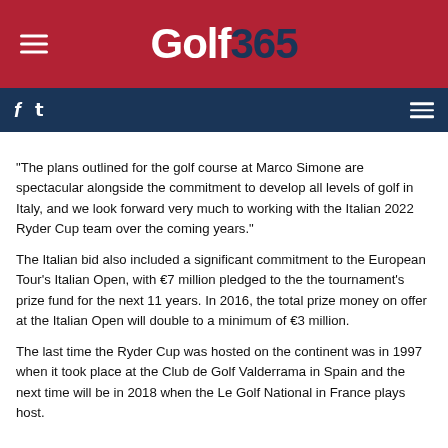Golf 365
“The plans outlined for the golf course at Marco Simone are spectacular alongside the commitment to develop all levels of golf in Italy, and we look forward very much to working with the Italian 2022 Ryder Cup team over the coming years.”
The Italian bid also included a significant commitment to the European Tour’s Italian Open, with €7 million pledged to the the tournament's prize fund for the next 11 years. In 2016, the total prize money on offer at the Italian Open will double to a minimum of €3 million.
The last time the Ryder Cup was hosted on the continent was in 1997 when it took place at the Club de Golf Valderrama in Spain and the next time will be in 2018 when the Le Golf National in France plays host.